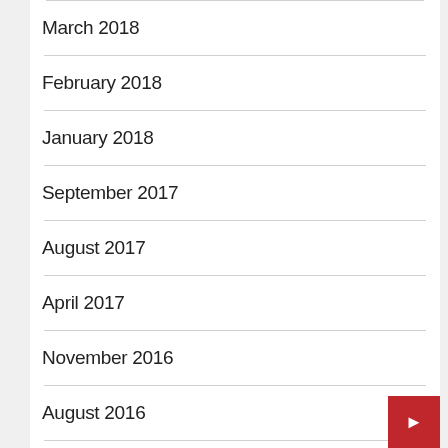March 2018
February 2018
January 2018
September 2017
August 2017
April 2017
November 2016
August 2016
June 2016